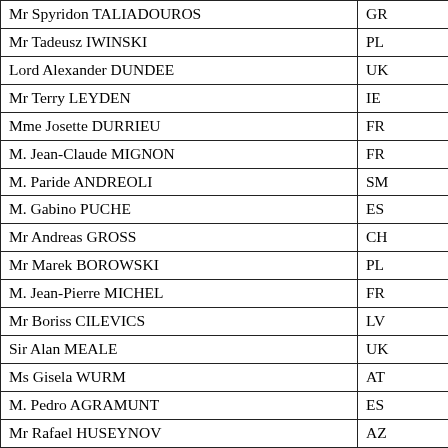| Name | Code |
| --- | --- |
| Mr Spyridon TALIADOUROS | GR |
| Mr Tadeusz IWINSKI | PL |
| Lord Alexander DUNDEE | UK |
| Mr Terry LEYDEN | IE |
| Mme Josette DURRIEU | FR |
| M. Jean-Claude MIGNON | FR |
| M. Paride ANDREOLI | SM |
| M. Gabino PUCHE | ES |
| Mr Andreas GROSS | CH |
| Mr Marek BOROWSKI | PL |
| M. Jean-Pierre MICHEL | FR |
| Mr Boriss CILEVICS | LV |
| Sir Alan MEALE | UK |
| Ms Gisela WURM | AT |
| M. Pedro AGRAMUNT | ES |
| Mr Rafael HUSEYNOV | AZ |
| Mr Robert WALTER | UK |